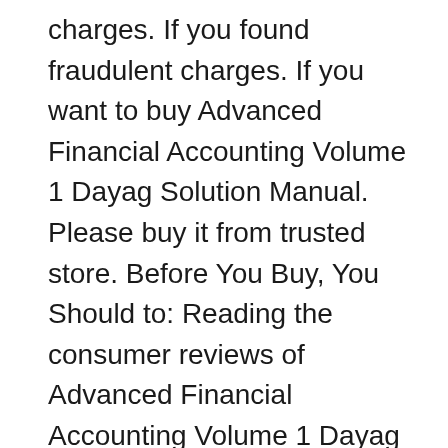charges. If you found fraudulent charges. If you want to buy Advanced Financial Accounting Volume 1 Dayag Solution Manual. Please buy it from trusted store. Before You Buy, You Should to: Reading the consumer reviews of Advanced Financial Accounting Volume 1 Dayag Solution Manual before purchase. It'll Shop for Advanced Financial Accounting Volume 2 Dayag Solution Manual 2017 Ads Immediately . Free shipping and returns on "Advanced Financial Accounting Volume 2 Dayag Solution Manual 2017 Online Wholesale" for you purchase it today !.Find more Low Price and More Promotion for Advanced Financial Accounting Volume 2 Dayag Solution Manual 2017 Online Best Reviews Advanced Financial Accounting